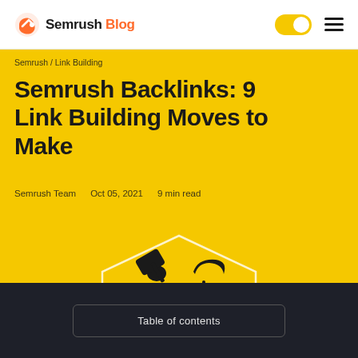Semrush Blog
Semrush / Link Building
Semrush Backlinks: 9 Link Building Moves to Make
Semrush Team   Oct 05, 2021   9 min read
[Figure (illustration): Illustration of a person hammering on a yellow background with a white hexagon shape behind them]
Table of contents